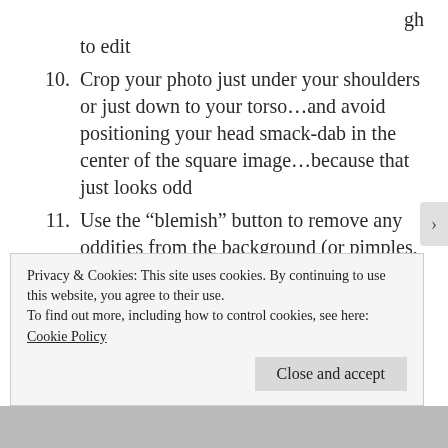gh
to edit
10. Crop your photo just under your shoulders or just down to your torso…and avoid positioning your head smack-dab in the center of the square image…because that just looks odd
11. Use the “blemish” button to remove any oddities from the background (or pimples, if you’re me), then play around with the brightness, contrast, and all the other fun tones
Privacy & Cookies: This site uses cookies. By continuing to use this website, you agree to their use.
To find out more, including how to control cookies, see here:
Cookie Policy
Close and accept